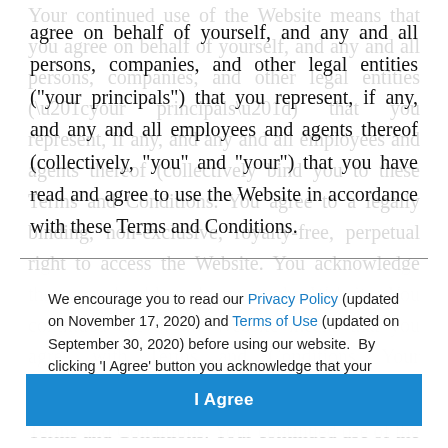agree on behalf of yourself, and any and all persons, companies, and other legal entities (“your principals”) that you represent, if any, and any and all employees and agents thereof (collectively, “you” and “your”) that you have read and agree to use the Website in accordance with these Terms and Conditions.
We encourage you to read our Privacy Policy (updated on November 17, 2020) and Terms of Use (updated on September 30, 2020) before using our website.  By clicking ‘I Agree’ button you acknowledge that your have read these policies and consent to our Terms of Use for our website.